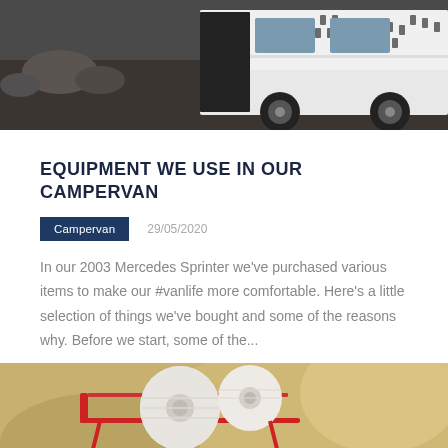[Figure (photo): A white van/campervan with graphic decals parked on rocky ground, rear door open, photographed from behind/side angle.]
EQUIPMENT WE USE IN OUR CAMPERVAN
Campervan   29/05/2020
In our 2003 Mercedes Sprinter we've purchased various items to make our #vanlife more comfortable. Here's a little selection of things we've bought and some of the reasons why. Before we start, some of the...
[Figure (photo): Rolls of toilet paper in a shopping cart, blurred warm outdoor background.]